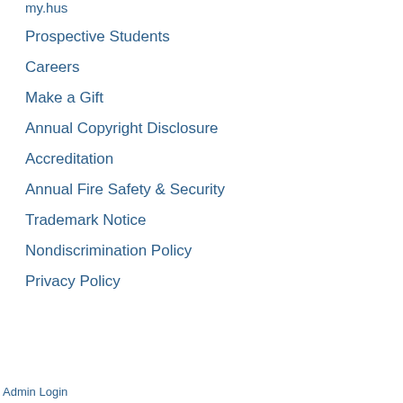my.hus
Prospective Students
Careers
Make a Gift
Annual Copyright Disclosure
Accreditation
Annual Fire Safety & Security
Trademark Notice
Nondiscrimination Policy
Privacy Policy
Admin Login